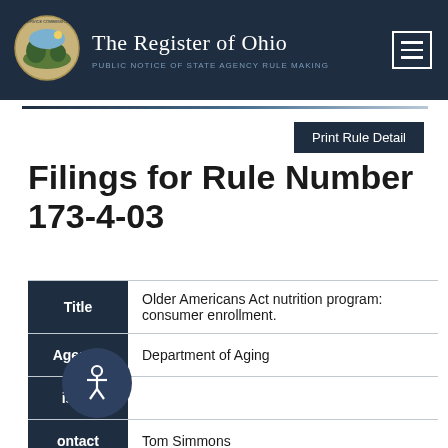The Register of Ohio — PUBLIC NOTICE OF STATE AGENCY RULE MAKING
Print Rule Detail
Filings for Rule Number 173-4-03
| Label | Value |
| --- | --- |
| Title | Older Americans Act nutrition program: consumer enrollment. |
| Agency | Department of Aging |
| Division |  |
| Contact | Tom Simmons |